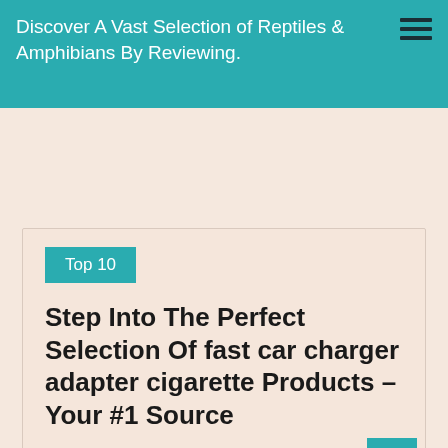Discover A Vast Selection of Reptiles & Amphibians By Reviewing.
Top 10
Step Into The Perfect Selection Of fast car charger adapter cigarette Products – Your #1 Source
allen  0  Posted on May 29, 2022